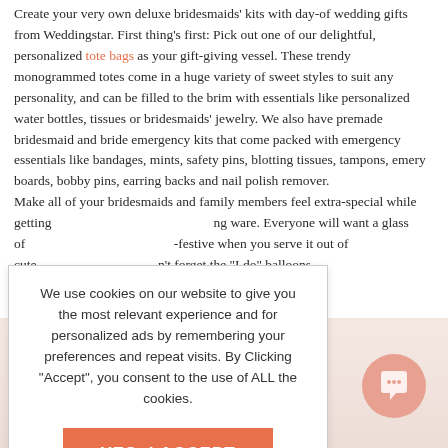Create your very own deluxe bridesmaids' kits with day-of wedding gifts from Weddingstar. First thing's first: Pick out one of our delightful, personalized tote bags as your gift-giving vessel. These trendy monogrammed totes come in a huge variety of sweet styles to suit any personality, and can be filled to the brim with essentials like personalized water bottles, tissues or bridesmaids' jewelry. We also have premade bridesmaid and bride emergency kits that come packed with emergency essentials like bandages, mints, safety pins, blotting tissues, tampons, emery boards, bobby pins, earring backs and nail polish remover.
Make all of your bridesmaids and family members feel extra-special while getting ...ng ware. Everyone will want a glass of ...-festive when you serve it out of cute ...n't forget the "I do" balloons and ...Just add a few snacks, muffins or ...nd ready for your debut down the aisle. ...sure that you and your bridal party ...h!
We use cookies on our website to give you the most relevant experience and for personalized ads by remembering your preferences and repeat visits. By Clicking "Accept", you consent to the use of ALL the cookies.
YES, I ACCEPT
More Info
BACK TO TOP